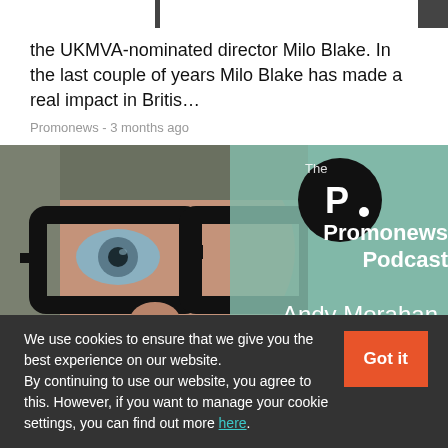the UKMVA-nominated director Milo Blake. In the last couple of years Milo Blake has made a real impact in Britis…
Promonews - 3 months ago
[Figure (photo): Podcast thumbnail showing a close-up of a person wearing thick black glasses on the left half, and a teal/mint background on the right with a circular black logo with 'P.' and text reading 'The Promonews Podcast' and 'Andy Morahan']
We use cookies to ensure that we give you the best experience on our website. By continuing to use our website, you agree to this. However, if you want to manage your cookie settings, you can find out more here.